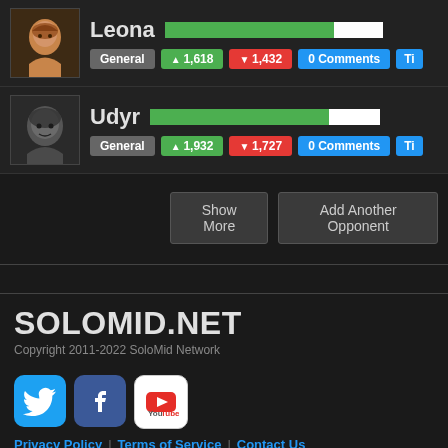[Figure (screenshot): Leona champion card with avatar, name, green/white progress bar, General badge, 1618 upvotes, 1432 downvotes, 0 Comments]
[Figure (screenshot): Udyr champion card with avatar, name, green/white progress bar, General badge, 1932 upvotes, 1727 downvotes, 0 Comments]
Show More
Add Another Opponent
SOLOMID.NET
Copyright 2011-2022 SoloMid Network
[Figure (logo): Twitter, Facebook, YouTube social media icons]
Privacy Policy | Terms of Service | Contact Us